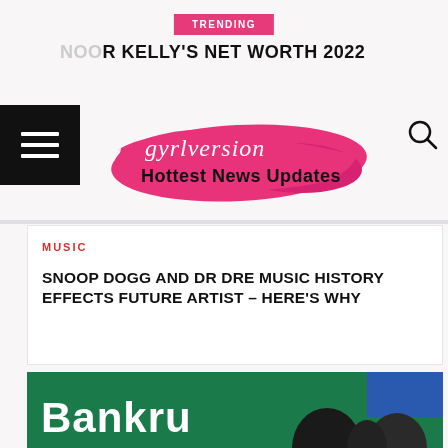TRENDING
R KELLY'S NET WORTH 2022
[Figure (logo): gyrlversion Hottest News Updates logo with pink brush stroke background]
MUSIC
SNOOP DOGG AND DR DRE MUSIC HISTORY EFFECTS FUTURE ARTIST – HERE'S WHY
[Figure (photo): Partial photo of two people in front of a green sign reading 'Bankru...' (bankruptcy)]